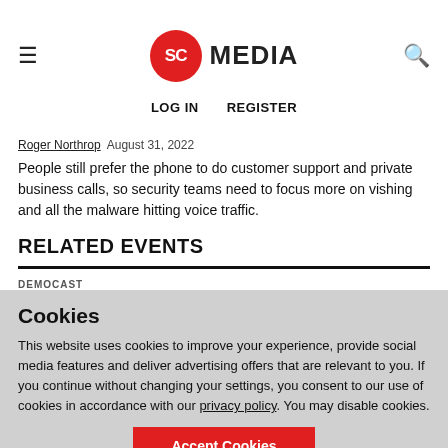SC MEDIA | LOG IN  REGISTER
Roger Northrop  August 31, 2022
People still prefer the phone to do customer support and private business calls, so security teams need to focus more on vishing and all the malware hitting voice traffic.
RELATED EVENTS
DEMOCAST
Shutting down Data Staging and Data Exfiltration Attacks
Cookies
This website uses cookies to improve your experience, provide social media features and deliver advertising offers that are relevant to you. If you continue without changing your settings, you consent to our use of cookies in accordance with our privacy policy. You may disable cookies.
Accept Cookies